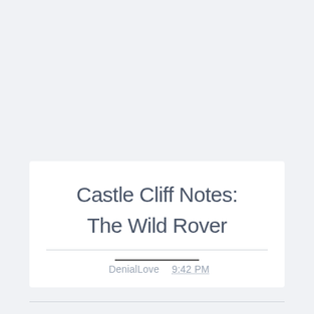Castle Cliff Notes:
The Wild Rover
DenialLove  9:42 PM